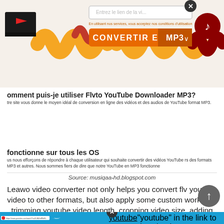[Figure (screenshot): Screenshot of Flvto YouTube Downloader MP3 website showing orange waveform banner with YouTube thumbnail on left, music note icon on right, URL input field with close button, terms text, and orange CONVERTIR EN MP3 button]
omment puis-je utiliser Flvto YouTube Downloader MP3?
tre site vous donne le moyen idéal de conversion en ligne des vidéos et des audios de YouTube format MP3. Nous utilisons toujours la meilleure qualité de vidéo afin de produire la meilleure aine MP3 possible.
fonctionne sur tous les OS
us nous efforçons de répondre à chaque utilisateur qui souhaite convertir des vidéos YouTube rs des formats MP3 et autres. Nous sommes fiers de dire que notre YouTube en MP3 fonctionne
Source: musiqaa-hd.blogspot.com
Leawo video converter not only helps you convert flv youtube video to other formats, but also apply some custom work, like trimming youtube video length, cropping video size, adding image or text watermark, applying 3d effect, etc. If you need a fast and easy solution for your youtube to mp3 conversion needs, just visit their website and convert!
[Figure (screenshot): Bottom blue bar screenshot showing a YouTube URL in browser input and instruction text about inserting 'youtube' in the URL]